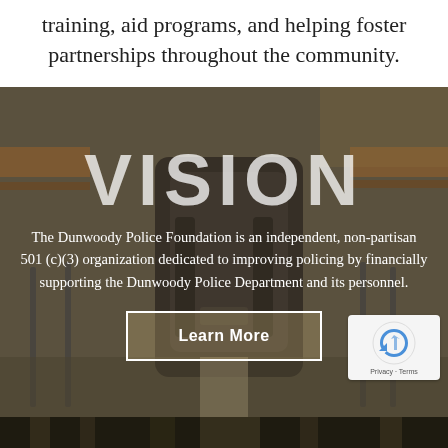training, aid programs, and helping foster partnerships throughout the community.
[Figure (photo): Background photo of a classroom with a tactical backpack/vest on a chair, overlaid with the word VISION]
VISION
The Dunwoody Police Foundation is an independent, non-partisan 501 (c)(3) organization dedicated to improving policing by financially supporting the Dunwoody Police Department and its personnel.
[Figure (photo): Bottom partial photo showing a dark wooded or building scene]